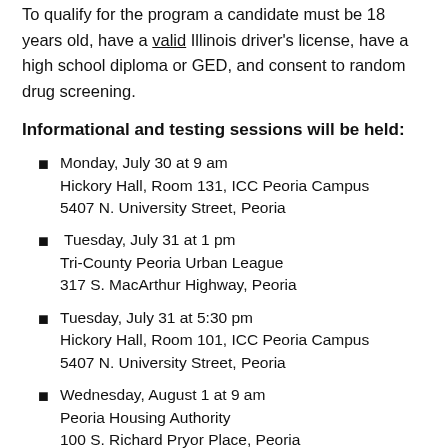To qualify for the program a candidate must be 18 years old, have a valid Illinois driver's license, have a high school diploma or GED, and consent to random drug screening.
Informational and testing sessions will be held:
Monday, July 30 at 9 am
Hickory Hall, Room 131, ICC Peoria Campus
5407 N. University Street, Peoria
Tuesday, July 31 at 1 pm
Tri-County Peoria Urban League
317 S. MacArthur Highway, Peoria
Tuesday, July 31 at 5:30 pm
Hickory Hall, Room 101, ICC Peoria Campus
5407 N. University Street, Peoria
Wednesday, August 1 at 9 am
Peoria Housing Authority
100 S. Richard Pryor Place, Peoria